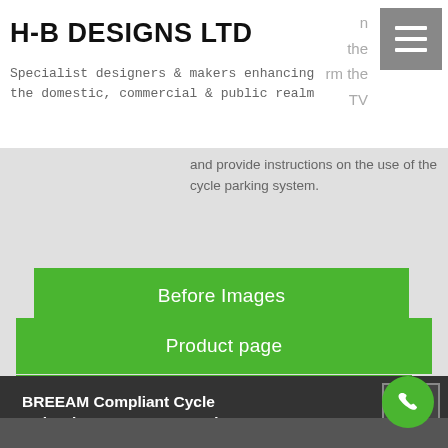H-B DESIGNS LTD
Specialist designers & makers enhancing the domestic, commercial & public realm
and provide instructions on the use of the cycle parking system.
Before Images
Product page
Traffic Management
BREEAM Compliant Cycle Hub, Chancery Lane, London
[Figure (photo): Bottom strip showing bicycle parking equipment - partial view of metal cycle stands with green accents]